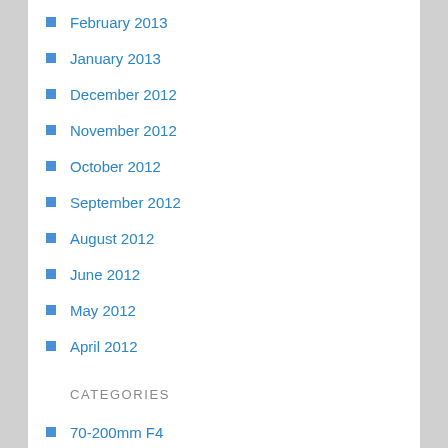February 2013
January 2013
December 2012
November 2012
October 2012
September 2012
August 2012
June 2012
May 2012
April 2012
CATEGORIES
70-200mm F4
Adobe
Announcements
Canon 6D
D600
Deals
Firmware
Lenses
Lightroom